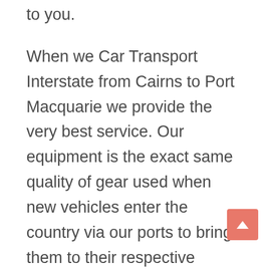to you.
When we Car Transport Interstate from Cairns to Port Macquarie we provide the very best service. Our equipment is the exact same quality of gear used when new vehicles enter the country via our ports to bring them to their respective dealerships in Each time we move a vehicle it is handled with total care, and will always be moved in a safe and secure manner Move My Car has a variety of services to suit your needs such as enclosed transport for high value vehicles, or the ability to transport a non-drivable vehicle, depending on its condition.